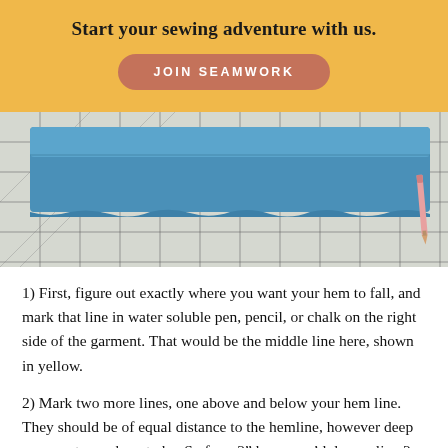Start your sewing adventure with us.
JOIN SEAMWORK
[Figure (photo): Blue fabric folded on a white cutting mat grid, with a pink pencil visible on the right edge.]
1) First, figure out exactly where you want your hem to fall, and mark that line in water soluble pen, pencil, or chalk on the right side of the garment. That would be the middle line here, shown in yellow.
2) Mark two more lines, one above and below your hem line. They should be of equal distance to the hemline, however deep you want your hem to be. So for a 2" hem, you'd draw a line 2 inches above (the white line)